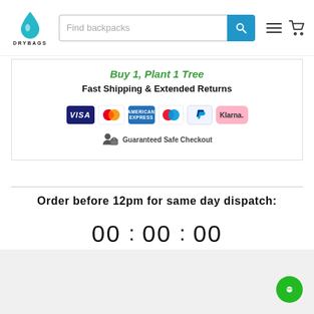[Figure (logo): DRYBAGS logo with teal water drop icon and search bar with 'Find backpacks' placeholder, hamburger menu and cart icon]
Buy 1, Plant 1 Tree
Fast Shipping & Extended Returns
[Figure (infographic): Payment method icons: VISA, Mastercard, American Express, Maestro, PayPal, Klarna. Guaranteed Safe Checkout badge.]
Order before 12pm for same day dispatch:
00 : 00 : 00
HOURS MINS SECS